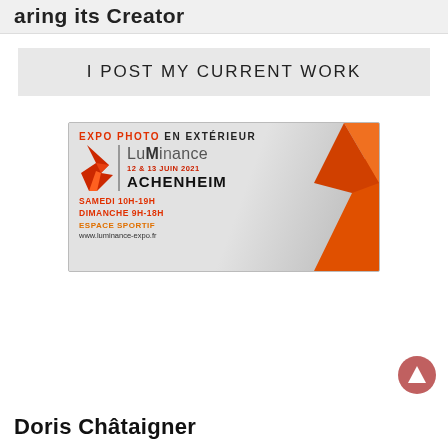aring its Creator
I POST MY CURRENT WORK
[Figure (illustration): Expo photo promotional banner for Luminance event at Achenheim, 12 & 13 Juin 2021. Shows orange geometric flame logo, event name Luminance, dates, location Achenheim, Saturday 10H-19H, Sunday 9H-18H, Espace Sportif, www.luminance-expo.fr]
Doris Châtaigner